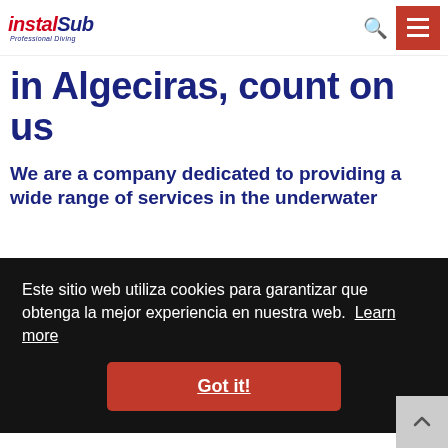[Figure (logo): InstalSub Professional Diving logo — 'instal' in red italic, 'Sub' in dark blue italic, 'Professional Diving' subtitle below in dark blue italic]
in Algeciras, count on us
We are a company dedicated to providing a wide range of services in the underwater
Este sitio web utiliza cookies para garantizar que obtenga la mejor experiencia en nuestra web. Learn more
Got it!